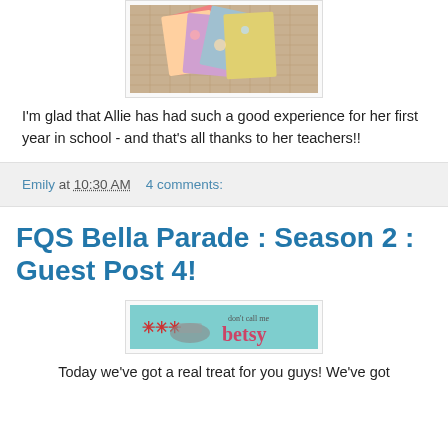[Figure (photo): Photo of colorful quilted fabric pieces on a cutting mat]
I'm glad that Allie has had such a good experience for her first year in school - and that's all thanks to her teachers!!
Emily at 10:30 AM    4 comments:
FQS Bella Parade : Season 2 : Guest Post 4!
[Figure (logo): Banner image for 'don't call me betsy' blog with sewing machine graphic on teal background]
Today we've got a real treat for you guys! We've got